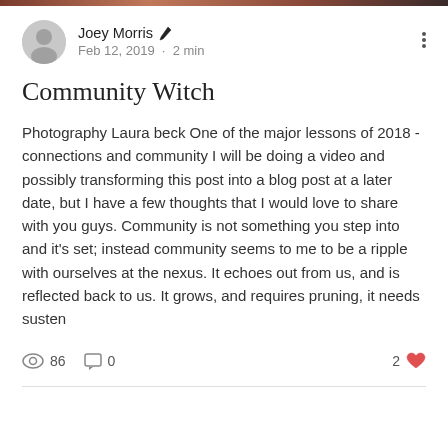[decorative top bar]
Joey Morris  Feb 12, 2019 · 2 min
Community Witch
Photography Laura beck One of the major lessons of 2018 - connections and community I will be doing a video and possibly transforming this post into a blog post at a later date, but I have a few thoughts that I would love to share with you guys. Community is not something you step into and it's set; instead community seems to me to be a ripple with ourselves at the nexus. It echoes out from us, and is reflected back to us. It grows, and requires pruning, it needs susten
86 views  0 comments  2 likes